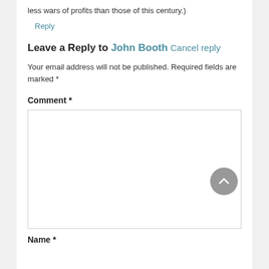less wars of profits than those of this century.)
Reply
Leave a Reply to John Booth Cancel reply
Your email address will not be published. Required fields are marked *
Comment *
Name *